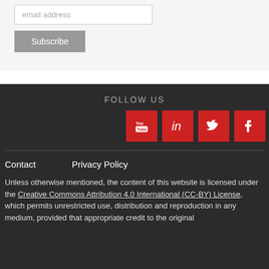[Figure (screenshot): Email address input field with placeholder text 'email address']
[Figure (screenshot): Subscribe button (grey background, white text)]
FOLLOW US
[Figure (infographic): Social media icons: YouTube, LinkedIn, Twitter, Facebook — each in a red square tile]
Contact    Privacy Policy
Unless otherwise mentioned, the content of this website is licensed under the Creative Commons Attribution 4.0 International (CC-BY) License, which permits unrestricted use, distribution and reproduction in any medium, provided that appropriate credit to the original